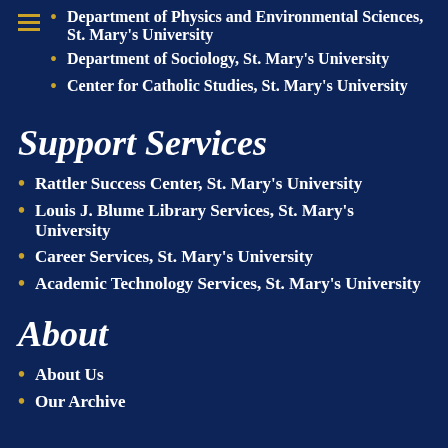Department of Physics and Environmental Sciences, St. Mary's University
Department of Sociology, St. Mary's University
Center for Catholic Studies, St. Mary's University
Support Services
Rattler Success Center, St. Mary's University
Louis J. Blume Library Services, St. Mary's University
Career Services, St. Mary's University
Academic Technology Services, St. Mary's University
About
About Us
Our Archive